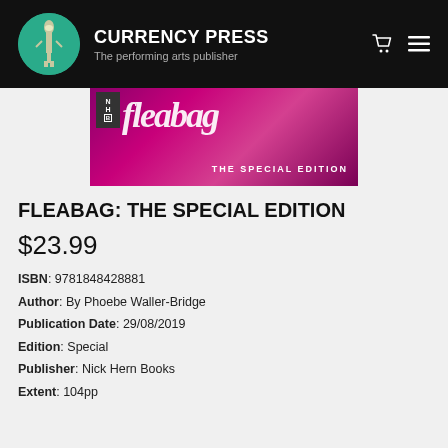CURRENCY PRESS — The performing arts publisher
[Figure (photo): Book cover of Fleabag: The Special Edition showing pink background with white cursive title text and NHB logo]
FLEABAG: THE SPECIAL EDITION
$23.99
ISBN: 9781848428881
Author: By Phoebe Waller-Bridge
Publication Date: 29/08/2019
Edition: Special
Publisher: Nick Hern Books
Extent: 104pp